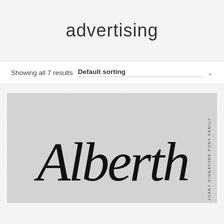advertising
Showing all 7 results  Default sorting
[Figure (illustration): Product listing thumbnail showing cursive/signature font family named 'Alberth' with handwritten script text on a light gray leather-textured background. Text 'JOANT SIGNATURE FONT FAMILY' appears vertically on the right side.]